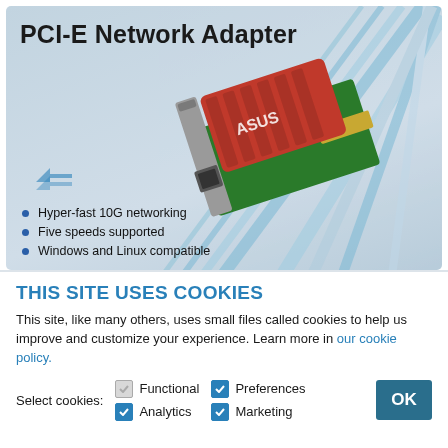[Figure (photo): Photo of an ASUS PCI-E Network Adapter product box. The box shows the red ASUS network card on a light blue background with decorative ray lines. Text on box: 'PCI-E Network Adapter', bullet points: 'Hyper-fast 10G networking', 'Five speeds supported', 'Windows and Linux compatible'.]
THIS SITE USES COOKIES
This site, like many others, uses small files called cookies to help us improve and customize your experience. Learn more in our cookie policy.
Select cookies: Functional (unchecked), Preferences (checked), Analytics (checked), Marketing (checked)